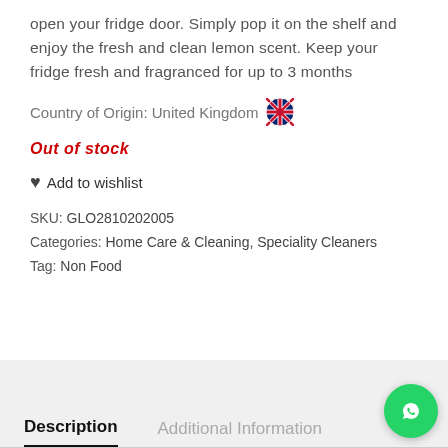open your fridge door. Simply pop it on the shelf and enjoy the fresh and clean lemon scent. Keep your fridge fresh and fragranced for up to 3 months
Country of Origin: United Kingdom 🇬🇧
Out of stock
♥ Add to wishlist
SKU: GLO2810202005
Categories: Home Care & Cleaning, Speciality Cleaners
Tag: Non Food
Description
Additional Information